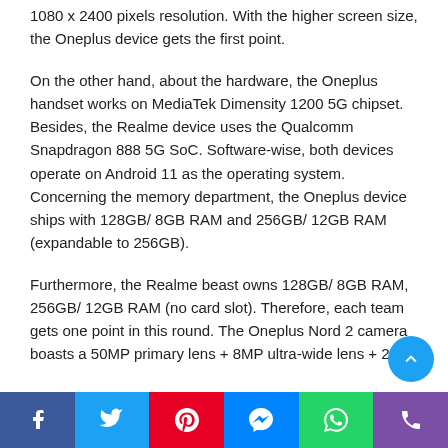1080 x 2400 pixels resolution. With the higher screen size, the Oneplus device gets the first point.
On the other hand, about the hardware, the Oneplus handset works on MediaTek Dimensity 1200 5G chipset. Besides, the Realme device uses the Qualcomm Snapdragon 888 5G SoC. Software-wise, both devices operate on Android 11 as the operating system. Concerning the memory department, the Oneplus device ships with 128GB/ 8GB RAM and 256GB/ 12GB RAM (expandable to 256GB).
Furthermore, the Realme beast owns 128GB/ 8GB RAM, 256GB/ 12GB RAM (no card slot). Therefore, each team gets one point in this round. The Oneplus Nord 2 camera boasts a 50MP primary lens + 8MP ultra-wide lens + 2MP
Facebook | Twitter | Pinterest | Messenger | WhatsApp | Phone